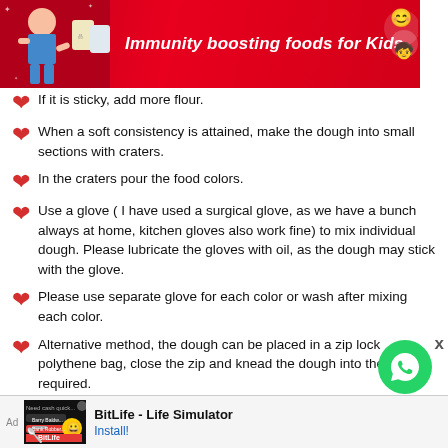[Figure (illustration): Red banner ad: 'Immunity boosting foods for Kids' with girl flexing and baby icon]
If it is sticky, add more flour.
When a soft consistency is attained, make the dough into small sections with craters.
In the craters pour the food colors.
Use a glove ( I have used a surgical glove, as we have a bunch always at home, kitchen gloves also work fine) to mix individual dough. Please lubricate the gloves with oil, as the dough may stick with the glove.
Please use separate glove for each color or wash after mixing each color.
Alternative method, the dough can be placed in a zip lock polythene bag, close the zip and knead the dough into the color required.
Viola!!! Your Edible Play Dough is ready!!!
[Figure (screenshot): Bottom advertisement for BitLife - Life Simulator app with Install button]